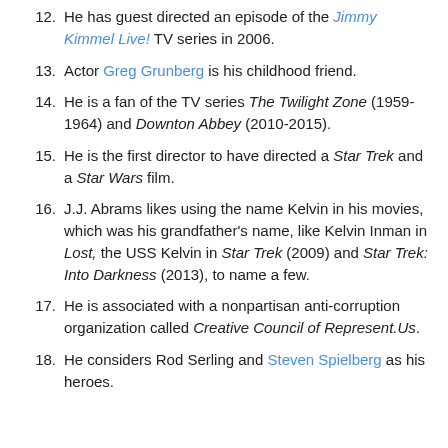12. He has guest directed an episode of the Jimmy Kimmel Live! TV series in 2006.
13. Actor Greg Grunberg is his childhood friend.
14. He is a fan of the TV series The Twilight Zone (1959-1964) and Downton Abbey (2010-2015).
15. He is the first director to have directed a Star Trek and a Star Wars film.
16. J.J. Abrams likes using the name Kelvin in his movies, which was his grandfather's name, like Kelvin Inman in Lost, the USS Kelvin in Star Trek (2009) and Star Trek: Into Darkness (2013), to name a few.
17. He is associated with a nonpartisan anti-corruption organization called Creative Council of Represent.Us.
18. He considers Rod Serling and Steven Spielberg as his heroes.